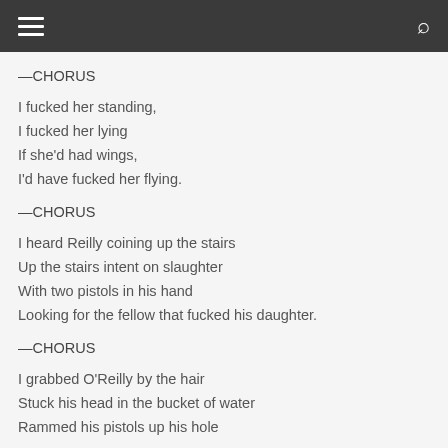☰  🔍
—CHORUS
I fucked her standing,
I fucked her lying
If she'd had wings,
I'd have fucked her flying.
—CHORUS
I heard Reilly coining up the stairs
Up the stairs intent on slaughter
With two pistols in his hand
Looking for the fellow that fucked his daughter.
—CHORUS
I grabbed O'Reilly by the hair
Stuck his head in the bucket of water
Rammed his pistols up his hole